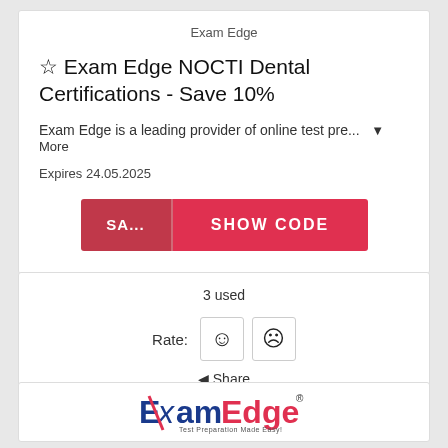Exam Edge
☆ Exam Edge NOCTI Dental Certifications - Save 10%
Exam Edge is a leading provider of online test pre...  ▼ More
Expires 24.05.2025
[Figure (screenshot): Red button with 'SA...' on left and 'SHOW CODE' on right]
3 used
Rate: ☺ ☹
◄ Share
[Figure (logo): ExamEdge logo — 'Exam' in blue and 'Edge' in red with registered trademark symbol, tagline below]